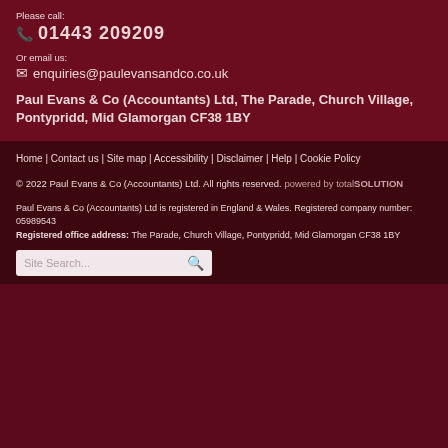Please call:
📞 01443 209209
Or email us:
✉ enquiries@paulevansandco.co.uk
Paul Evans & Co (Accountants) Ltd, The Parade, Church Village, Pontypridd, Mid Glamorgan CF38 1BY
Home | Contact us | Site map | Accessibility | Disclaimer | Help | Cookie Policy
© 2022 Paul Evans & Co (Accountants) Ltd. All rights reserved. powered by totalSOLUTION
Paul Evans & Co (Accountants) Ltd is registered in England & Wales. Registered company number: 05989543
Registered office address: The Parade, Church Village, Pontypridd, Mid Glamorgan CF38 1BY
Site Search...